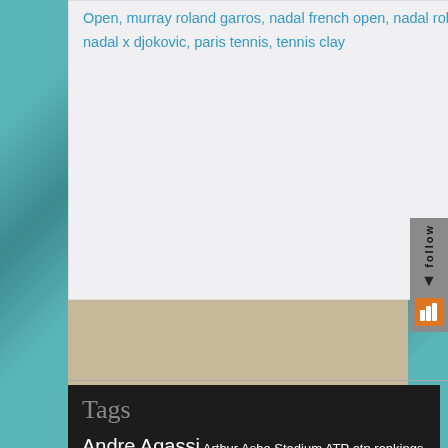Open, murray roland garros, nadal french open, nadal roland garros, nadal x djokovic, paris tennis, tennis clay
Tags
Andre Agassi Arthur Ashe Stadium ATP atp rankings ATP results Australian Open Brasil brasil nas duplas Brazil Davis Cup Federer French Open Grand Slam grand slam champions Grand Slams Guga guga roland garros Gustavo Kuerten John McEnroe larri passos Nadal Nadal